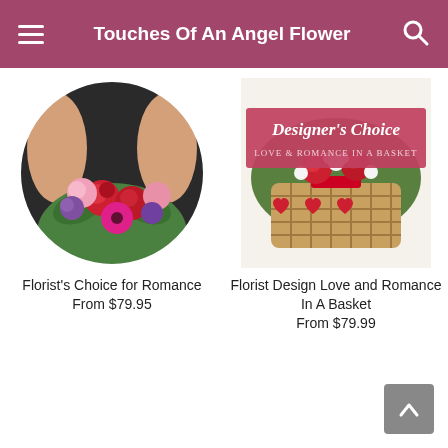Touches Of An Angel Flower
[Figure (photo): Circular photo of a florist holding a colorful bouquet with red roses, pink carnations, purple flowers, and gerbera daisies]
[Figure (photo): Photo of a Designer's Choice Love & Romance In A Basket arrangement — a wicker basket with hearts decoration containing red flowers and white baby's breath, with a red promotional banner overlay reading 'Designer's Choice LOVE & ROMANCE IN A BASKET']
Florist's Choice for Romance
From $79.95
Florist Design Love and Romance In A Basket
From $79.99